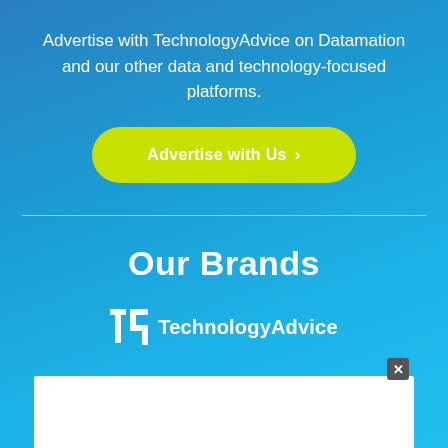Advertise with TechnologyAdvice on Datamation and our other data and technology-focused platforms.
Advertise with Us >
Our Brands
[Figure (logo): TechnologyAdvice logo with TA icon and wordmark in white]
[Figure (logo): eWEEK logo in white italic bold text]
[Figure (other): White advertisement overlay box with close X button in bottom portion of page]